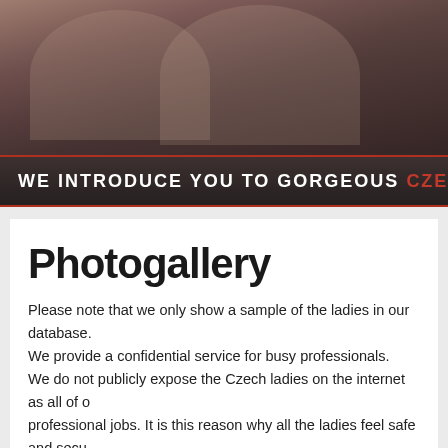[Figure (photo): Banner photo of people, dark toned with warm overlay]
WE INTRODUCE YOU TO GORGEOUS CZECH & SLOVAK LADIES WIT
Photogallery
Please note that we only show a sample of the ladies in our database. We provide a confidential service for busy professionals. We do not publicly expose the Czech ladies on the internet as all of our professional jobs. It is this reason why all the ladies feel safe and secure minded men and eveything is HIGHLY CONFIDENTIAL. Therefore we quality and most up to date database of women profiles in the dating b Unlike online dating agencies where anyone can register and post fak with us. We pride ourselves in having one of the most innovative meth
This is only limited selection of ladies and limited info about our ladies